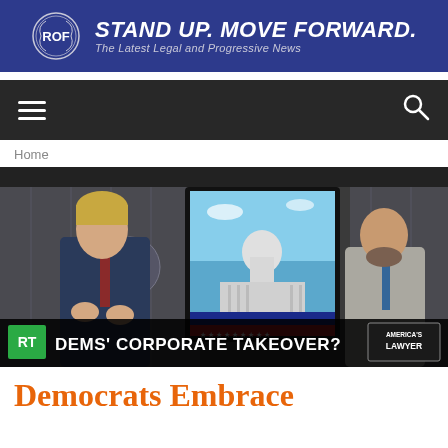[Figure (logo): ROF website banner with blue background, ROF circular logo, bold italic text STAND UP. MOVE FORWARD. and subtitle The Latest Legal and Progressive News]
[Figure (screenshot): Navigation bar with dark background, hamburger menu icon on left, search icon on right]
Home
[Figure (photo): TV broadcast screenshot showing two men in suits discussing in a studio with a screen showing US Capitol building. Lower third graphic reads DEMS' CORPORATE TAKEOVER? with RT logo and AMERICA'S LAWYER branding]
Democrats Embrace